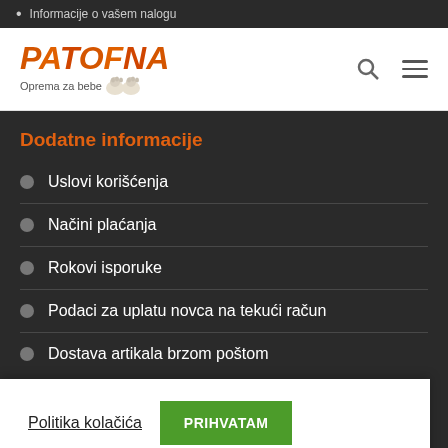Informacije o vašem nalogu
[Figure (logo): PATOFNA logo - Oprema za bebe, with baby shoes graphic]
Dodatne informacije
Uslovi korišćenja
Načini plaćanja
Rokovi isporuke
Podaci za uplatu novca na tekući račun
Dostava artikala brzom poštom
Politika kolačića  PRIHVATAM